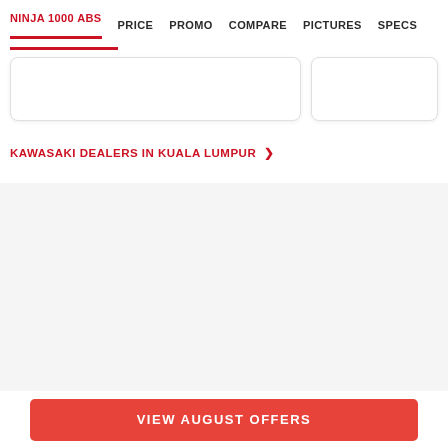NINJA 1000 ABS  PRICE  PROMO  COMPARE  PICTURES  SPECS
KAWASAKI DEALERS IN KUALA LUMPUR >
[Figure (other): Gray content section, largely empty/blank]
VIEW AUGUST OFFERS